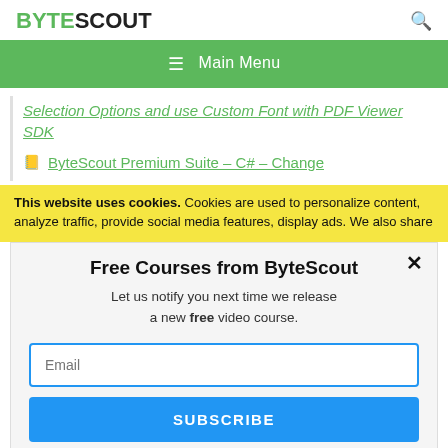BYTESCOUT
≡  Main Menu
Selection Options and use Custom Font with PDF Viewer SDK
ByteScout Premium Suite – C# – Change
This website uses cookies. Cookies are used to personalize content, analyze traffic, provide social media features, display ads. We also share
Free Courses from ByteScout
Let us notify you next time we release a new free video course.
Email
SUBSCRIBE